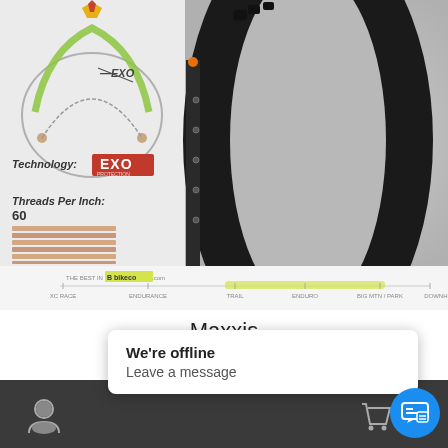[Figure (infographic): Product page screenshot of Maxxis Aggressor 29x2.3 EXO Dual Compound mountain bike tire on bikeco.com. Top section shows a cross-section diagram of the EXO tire technology on the left, with a label 'EXO' pointing to the sidewall, 'Technology: EXO' badge, 'Threads Per Inch: 60' with a thread swatch. Right side shows a photo of the actual tire. A horizontal scale bar shows ride style spectrum from XC Race to Downhill with a highlight on Trail/Enduro range.]
Maxxis
Aggressor
29×2.3 EXO
Dual Compound
We're offline
Leave a message